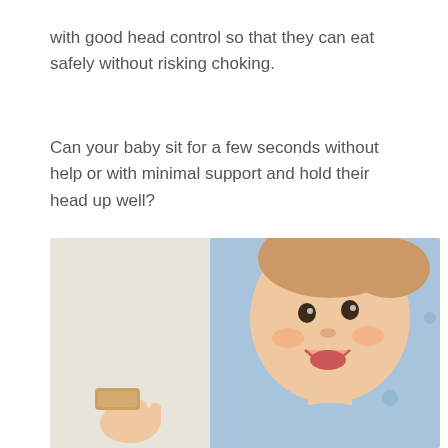with good head control so that they can eat safely without risking choking.
Can your baby sit for a few seconds without help or with minimal support and hold their head up well?
[Figure (photo): A smiling baby sitting in a blue chair holding a piece of food (biscuit/cracker), with a happy expression and mouth open, wearing a blue bib.]